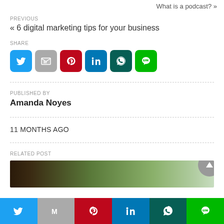What is a podcast? »
PREVIOUS
« 6 digital marketing tips for your business
SHARE
[Figure (infographic): Row of social share icon buttons: Twitter (blue), Gmail (gray), Pinterest (red), LinkedIn (blue), WhatsApp (dark teal), Line (green)]
PUBLISHED BY
Amanda Noyes
11 MONTHS AGO
RELATED POST
[Figure (photo): Partial photo showing a person outdoors with trees in background]
[Figure (infographic): Bottom navigation bar with social share icons: Twitter, Gmail, Pinterest, LinkedIn, WhatsApp, Line]